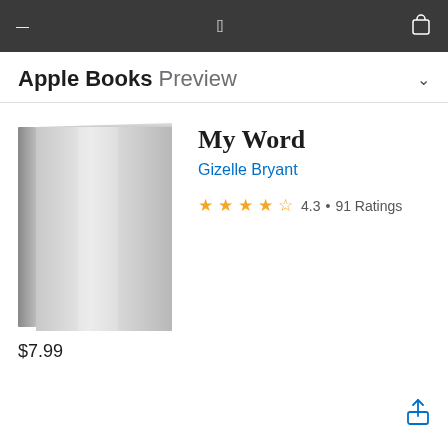Apple Books Preview
[Figure (illustration): Gray book cover — no title text, plain gradient gray hardcover book]
My Word
Gizelle Bryant
4.3 • 91 Ratings
$7.99